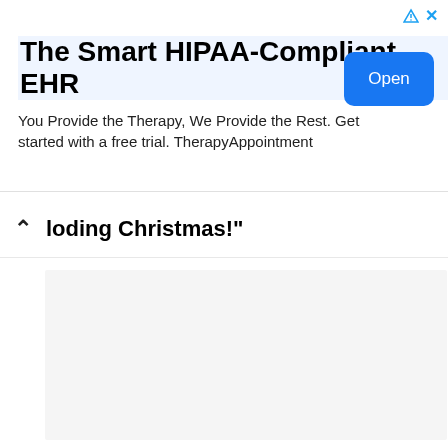[Figure (screenshot): Advertisement banner for TherapyAppointment HIPAA-Compliant EHR with title, subtitle, and Open button]
The Smart HIPAA-Compliant EHR
You Provide the Therapy, We Provide the Rest. Get started with a free trial. TherapyAppointment
loding Christmas!"
[Figure (screenshot): Content area showing a light gray empty box]